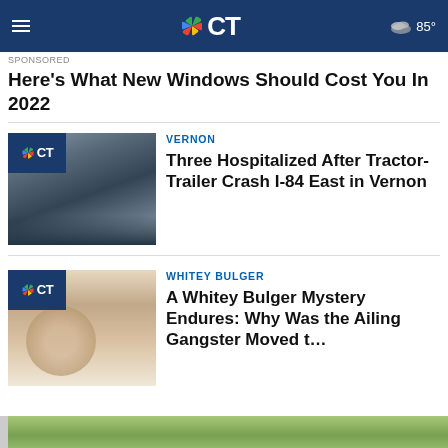NBC CT — 85°
SPONSORED
Here's What New Windows Should Cost You In 2022
VERNON
Three Hospitalized After Tractor-Trailer Crash I-84 East in Vernon
WHITEY BULGER
A Whitey Bulger Mystery Endures: Why Was the Ailing Gangster Moved t...